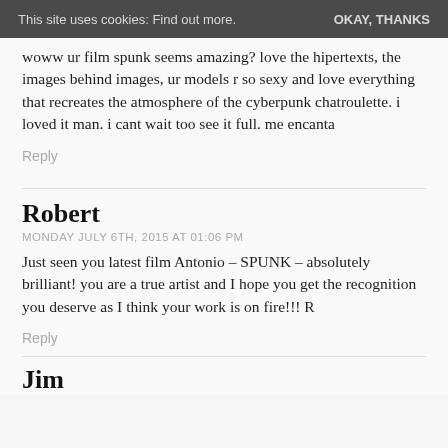This site uses cookies: Find out more.    OKAY, THANKS
woww ur film spunk seems amazing? love the hipertexts, the images behind images, ur models r so sexy and love everything that recreates the atmosphere of the cyberpunk chatroulette. i loved it man. i cant wait too see it full. me encanta
Reply
Robert
MONDAY JULY 6TH, 2015 AT 01:06 PM
Just seen you latest film Antonio – SPUNK – absolutely brilliant! you are a true artist and I hope you get the recognition you deserve as I think your work is on fire!!! R
Reply
Jim